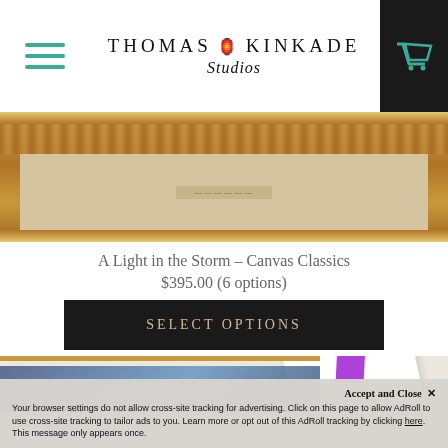Thomas Kinkade Studios
[Figure (photo): Close-up of a framed painting with ornate gold/brown frame, top portion visible showing decorative molding and a nameplate]
A Light in the Storm – Canvas Classics
$395.00 (6 options)
SELECT OPTIONS
[Figure (photo): A certificate of authenticity document with a purple wax seal stamp, partially overlapping a corner of the canvas artwork]
Accept and Close ×
Your browser settings do not allow cross-site tracking for advertising. Click on this page to allow AdRoll to use cross-site tracking to tailor ads to you. Learn more or opt out of this AdRoll tracking by clicking here. This message only appears once.